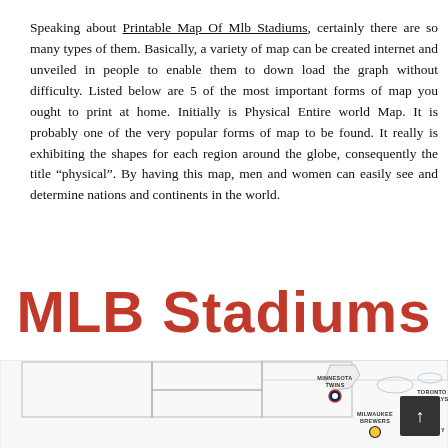Speaking about Printable Map Of Mlb Stadiums, certainly there are so many types of them. Basically, a variety of map can be created internet and unveiled in people to enable them to down load the graph without difficulty. Listed below are 5 of the most important forms of map you ought to print at home. Initially is Physical Entire world Map. It is probably one of the very popular forms of map to be found. It really is exhibiting the shapes for each region around the globe, consequently the title “physical”. By having this map, men and women can easily see and determine nations and continents in the world.
[Figure (other): Large red bold text reading 'MLB Stadiums' on white background]
[Figure (map): Partial map of MLB stadiums across the United States, showing Minnesota Twins, Milwaukee Brewers, Toronto Blue Jays, and other team locations with dots and labels. Map is cropped at bottom and right edges.]